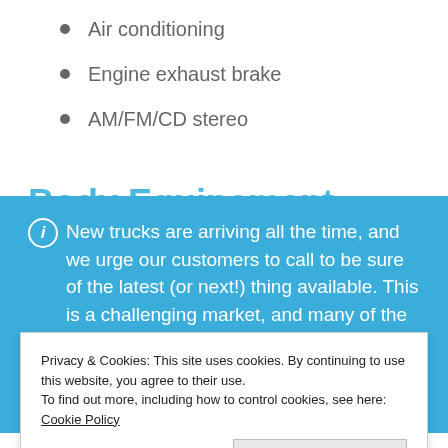Air conditioning
Engine exhaust brake
AM/FM/CD stereo
Body Equipment...
New trucks are arriving all the time, and we urge our customers to call to be sure of the latest (or next!) thing available. This is a challenging market, and many of the new units listed here are representative of similar units either already on order or that we can order for you.
Privacy & Cookies: This site uses cookies. By continuing to use this website, you agree to their use. To find out more, including how to control cookies, see here: Cookie Policy
Close and accept